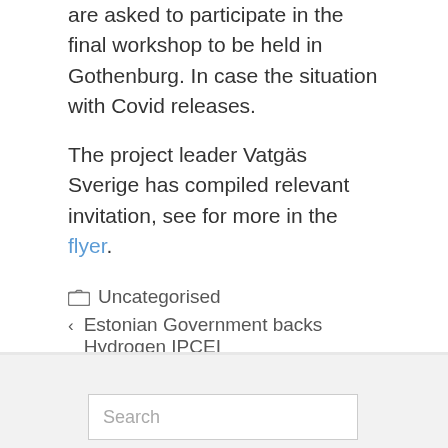are asked to participate in the final workshop to be held in Gothenburg. In case the situation with Covid releases.
The project leader Vatgäs Sverige has compiled relevant invitation, see for more in the flyer.
Uncategorised
Estonian Government backs Hydrogen IPCEI
BASREHRT 1
Search